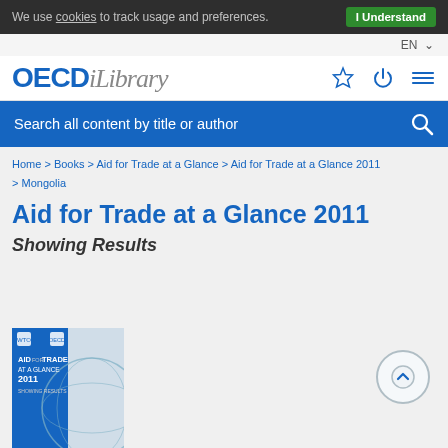We use cookies to track usage and preferences.  I Understand
[Figure (logo): OECD iLibrary logo with navigation icons (star, power, menu)]
EN
Search all content by title or author
Home > Books > Aid for Trade at a Glance > Aid for Trade at a Glance 2011 > Mongolia
Aid for Trade at a Glance 2011
Showing Results
[Figure (photo): Book cover of Aid for Trade at a Glance 2011 Showing Results, with globe image on blue background]